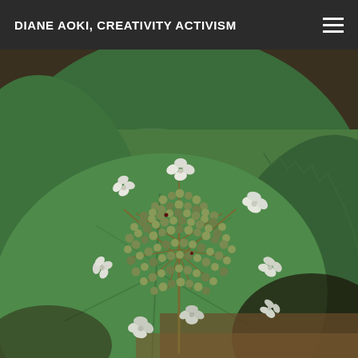DIANE AOKI, CREATIVITY ACTIVISM
[Figure (photo): Close-up photograph of a hydrangea plant showing large green leaves with serrated edges and a flower cluster in the center. The central cluster consists of many small green buds, surrounded by larger white four-petaled florets arranged around the perimeter. The background shows dappled sunlight on soil and more foliage.]